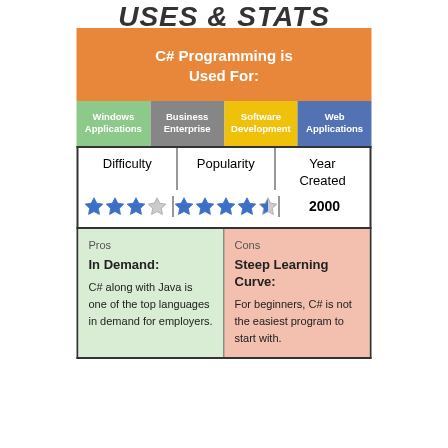USES & STATS
C# Programming is Used For:
Windows Applications | Business Enterprise | Software Development | Web Applications
| Difficulty | Popularity | Year Created |
| --- | --- | --- |
| 3 stars | 4.5 stars | 2000 |
Pros
In Demand:
C# along with Java is one of the top languages in demand for employers.
Cons
Steep Learning Curve:
For beginners, C# is not the easiest program to start with.